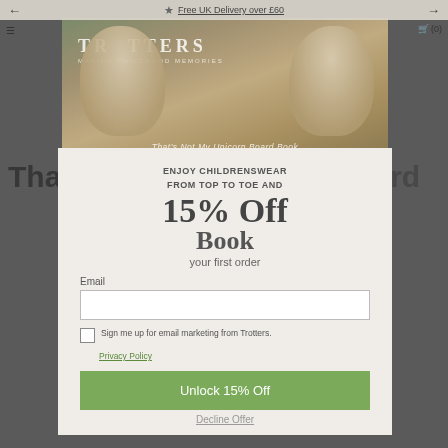← ☆ Free UK Delivery over £60 →
[Figure (photo): Two blonde girls in floral dresses holding hands, Trotters children's clothing brand hero image]
That's Not My Unicorn Board Book
ENJOY CHILDRENSWEAR FROM TOP TO TOE AND
15% Off
Book
your first order
Email
Sign me up for email marketing from Trotters.
Privacy Policy
Unlock 15% Off
Decline Offer